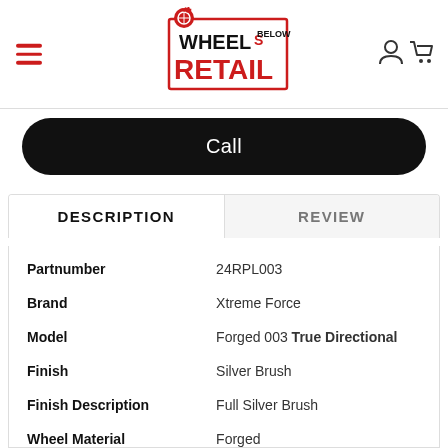[Figure (logo): Wheels Below Retail logo with flame and wheel graphic, red and black text]
Call
DESCRIPTION
REVIEW
| Field | Value |
| --- | --- |
| Partnumber | 24RPL003 |
| Brand | Xtreme Force |
| Model | Forged 003 True Directional |
| Finish | Silver Brush |
| Finish Description | Full Silver Brush |
| Wheel Material | Forged |
| Wheel Exposed |  |